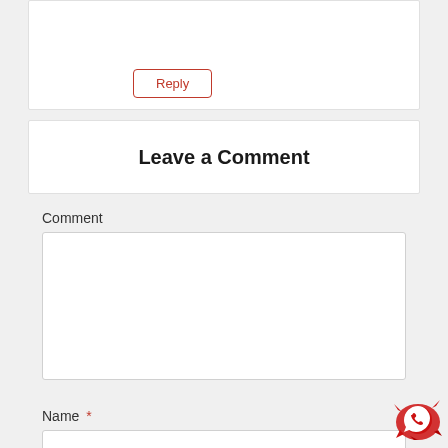Reply
Leave a Comment
Comment
Name *